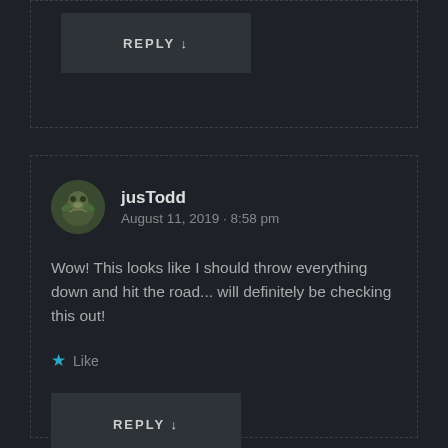REPLY ↓
jusTodd
August 11, 2019 · 8:58 pm
Wow! This looks like I should throw everything down and hit the road... will definitely be checking this out!
★ Like
REPLY ↓